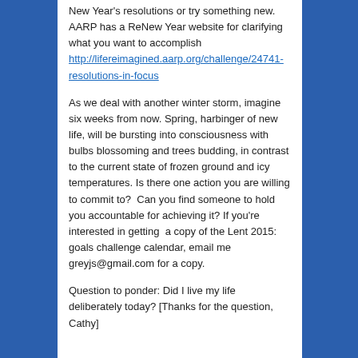New Year's resolutions or try something new. AARP has a ReNew Year website for clarifying what you want to accomplish http://lifereimagined.aarp.org/challenge/24741-resolutions-in-focus
As we deal with another winter storm, imagine six weeks from now. Spring, harbinger of new life, will be bursting into consciousness with bulbs blossoming and trees budding, in contrast to the current state of frozen ground and icy temperatures. Is there one action you are willing to commit to?  Can you find someone to hold you accountable for achieving it? If you're interested in getting  a copy of the Lent 2015: goals challenge calendar, email me greyjs@gmail.com for a copy.
Question to ponder: Did I live my life deliberately today? [Thanks for the question, Cathy]
Share IndexCardCure™: